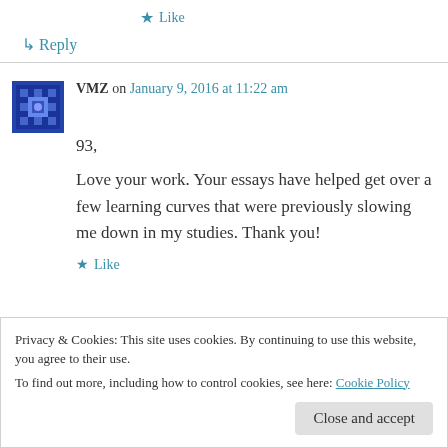★ Like
↳ Reply
VMZ on January 9, 2016 at 11:22 am
93,

Love your work. Your essays have helped get over a few learning curves that were previously slowing me down in my studies. Thank you!
★ Like
Privacy & Cookies: This site uses cookies. By continuing to use this website, you agree to their use.
To find out more, including how to control cookies, see here: Cookie Policy